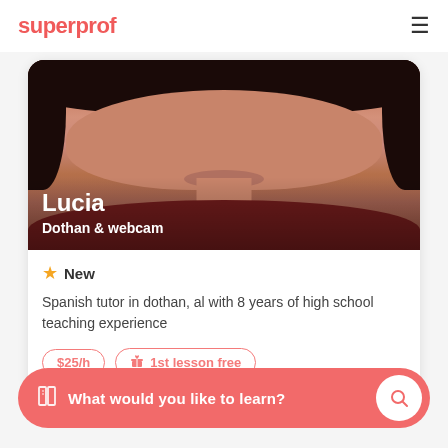superprof
[Figure (photo): Profile photo of Lucia, a Spanish tutor, with name overlay 'Lucia' and subtitle 'Dothan & webcam']
New
Spanish tutor in dothan, al with 8 years of high school teaching experience
$25/h
1st lesson free
What would you like to learn?